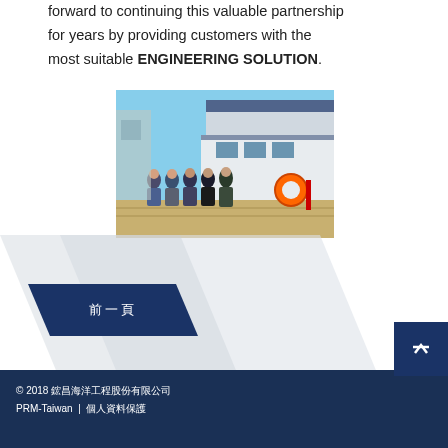forward to continuing this valuable partnership for years by providing customers with the most suitable ENGINEERING SOLUTION.
[Figure (photo): Group of people standing on a dock in front of a boat/vessel at a marina. Several individuals posed together outdoors.]
前一頁
© 2018 鋐昌海洋工程股份有限公司
PRM-Taiwan | 個人資料保護